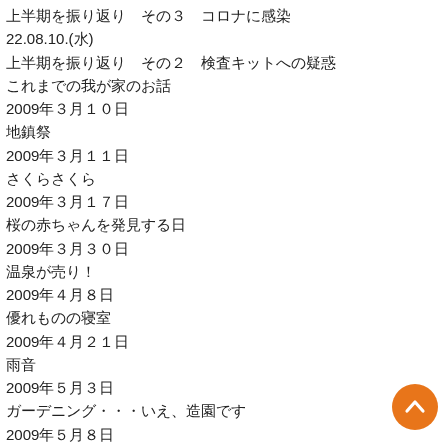上半期を振り返り　その３　コロナに感染
22.08.10.(水)
上半期を振り返り　その２　検査キットへの疑惑
これまでの我が家のお話
2009年３月１０日
地鎮祭
2009年３月１１日
さくらさくら
2009年３月１７日
桜の赤ちゃんを発見する日
2009年３月３０日
温泉が売り！
2009年４月８日
優れものの寝室
2009年４月２１日
雨音
2009年５月３日
ガーデニング・・・いえ、造園です
2009年５月８日